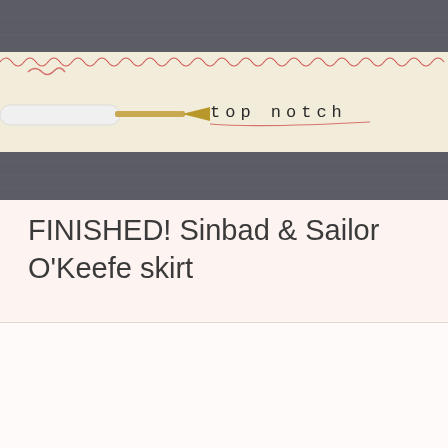[Figure (photo): Close-up photograph of a cream-colored fabric ribbon/seam tape against dark gray fabric, with red overlock stitching along the top edge and a seam ripper tool resting on the ribbon. Handwritten or stamped text 'top notch' is visible on the ribbon with a red underline.]
FINISHED! Sinbad & Sailor O'Keefe skirt
[Figure (photo): Partially visible photograph below the title, showing a light pinkish-white background, appears to be another sewing/garment photo.]